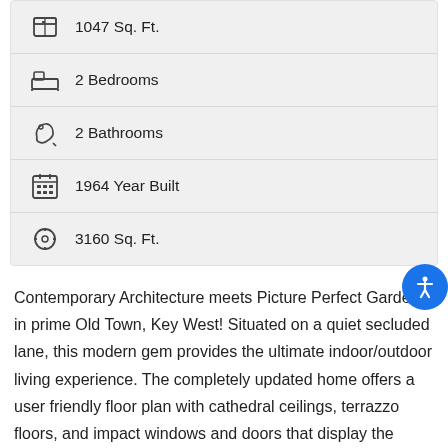1047 Sq. Ft.
2 Bedrooms
2 Bathrooms
1964 Year Built
3160 Sq. Ft.
Contemporary Architecture meets Picture Perfect Garden in prime Old Town, Key West! Situated on a quiet secluded lane, this modern gem provides the ultimate indoor/outdoor living experience. The completely updated home offers a user friendly floor plan with cathedral ceilings, terrazzo floors, and impact windows and doors that display the custom pool and lushly landscaped garden views from the Master Bedroom, Kitchen, Dining, and Living Room. Each of the two bedrooms have ensuite bathrooms, closets, and their own private patios. Open the sliding glass doors and step outside to discover the perfect island